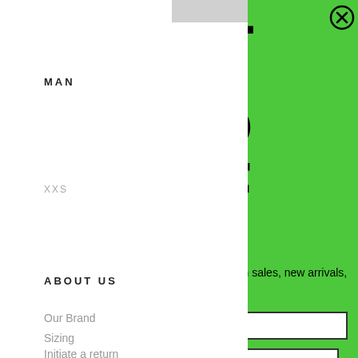MAN
XXS
ABOUT US
Our Brand
Sizing
Initiate a return
Shipping
GET 15% OFF
Sign up for our newsletter and get first dibs on sales, new arrivals, and restocks.
email
SUBSCRIBE